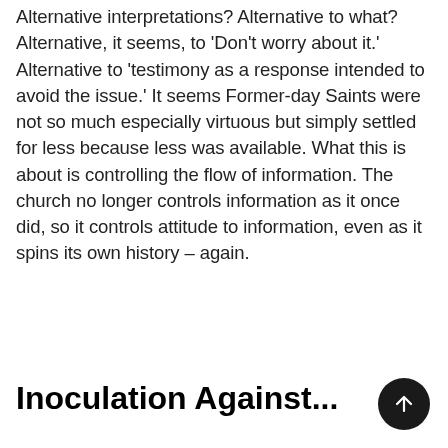Alternative interpretations? Alternative to what? Alternative, it seems, to 'Don't worry about it.' Alternative to 'testimony as a response intended to avoid the issue.' It seems Former-day Saints were not so much especially virtuous but simply settled for less because less was available. What this is about is controlling the flow of information. The church no longer controls information as it once did, so it controls attitude to information, even as it spins its own history – again.
Inoculation Against...